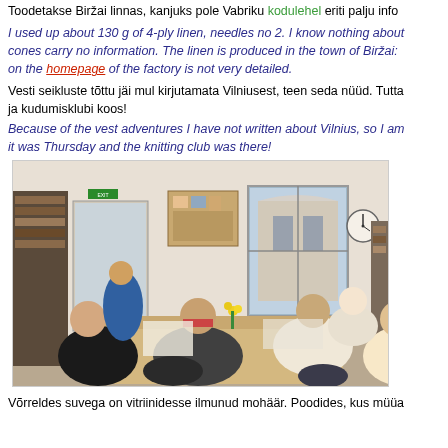Toodetakse Biržai linnas, kanjuks pole Vabriku kodulehel eriti palju infot
I used up about 130 g of 4-ply linen, needles no 2. I know nothing about cones carry no information. The linen is produced in the town of Biržai: on the homepage of the factory is not very detailed.
Vesti seikluste tõttu jäi mul kirjutamata Vilniusest, teen seda nüüd. Tutta ja kudumisklubi koos!
Because of the vest adventures I have not written about Vilnius, so I am it was Thursday and the knitting club was there!
[Figure (photo): Indoor photo of a knitting club meeting. Several women are seated around tables in a cozy room with bookshelves, a window showing a building outside, a clock on the wall, and various craft supplies. Yellow flowers are on the table.]
Võrreldes suvega on vitriinidesse ilmunud mohäär. Poodides, kus müüa